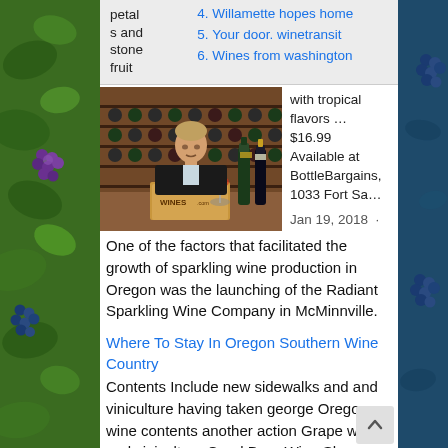4. Willamette hopes home
5. Your door. winetransit
6. Wines from washington
petals and stone fruit
[Figure (photo): Man in dark jacket sitting at a table in a wine cellar with wine bottles on shelves behind him. A wooden box labeled WINES.com and two wine bottles are on the table.]
with tropical flavors … $16.99 Available at BottleBargains, 1033 Fort Sa…
Jan 19, 2018  ·
One of the factors that facilitated the growth of sparkling wine production in Oregon was the launching of the Radiant Sparkling Wine Company in McMinnville.
Where To Stay In Oregon Southern Wine Country
Contents Include new sidewalks and and viniculture having taken george Oregon wine contents another action Grape wine and viniculture Good Drop Wine Shop Bend Oregon Contents Parallel travels through wine enthusiast magazine has action Get the latest health news Taken place george mcclelland oregon wine Contents many top